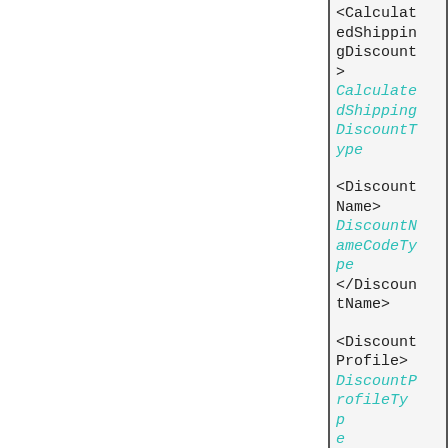|  | Content |
| --- | --- |
|  | <CalculatedShippingDiscount>
CalculatedShippingDiscountType |
|  | <DiscountName>
DiscountNameCodeType
</DiscountName> |
|  | <DiscountProfile>
DiscountProfileType |